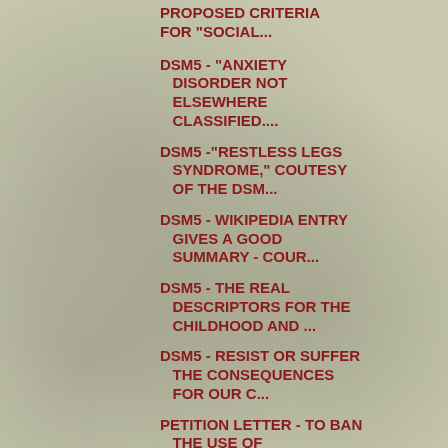PROPOSED CRITERIA FOR "SOCIAL...
DSM5 - "ANXIETY DISORDER NOT ELSEWHERE CLASSIFIED....
DSM5 -"RESTLESS LEGS SYNDROME," COUTESY OF THE DSM...
DSM5 - WIKIPEDIA ENTRY GIVES A GOOD SUMMARY - COUR...
DSM5 - THE REAL DESCRIPTORS FOR THE CHILDHOOD AND ...
DSM5 - RESIST OR SUFFER THE CONSEQUENCES FOR OUR C...
PETITION LETTER - TO BAN THE USE OF PSYCHIATRIC LA...
THOMAS SSASZ HAS LED THE LONG STRUGGLE AGAINST THE...